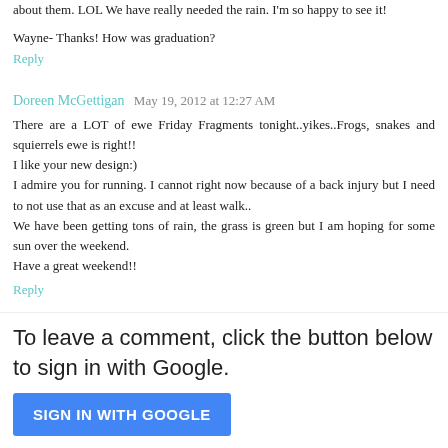about them. LOL We have really needed the rain. I'm so happy to see it!
Wayne- Thanks! How was graduation?
Reply
Doreen McGettigan  May 19, 2012 at 12:27 AM
There are a LOT of ewe Friday Fragments tonight..yikes..Frogs, snakes and squierrels ewe is right!!
I like your new design:)
I admire you for running. I cannot right now because of a back injury but I need to not use that as an excuse and at least walk..
We have been getting tons of rain, the grass is green but I am hoping for some sun over the weekend.
Have a great weekend!!
Reply
To leave a comment, click the button below to sign in with Google.
SIGN IN WITH GOOGLE
Thank you so much for taking the time to comment! It makes me feel connected to everyone even though we may live far apart! Have a wonderful day!